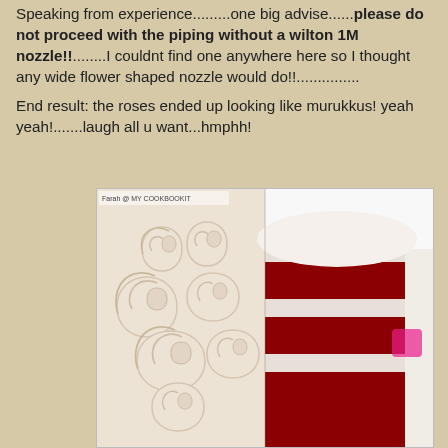Speaking from experience.........one big advise......please do not proceed with the piping without a wilton 1M nozzle!!........I couldnt find one anywhere here so I thought any wide flower shaped nozzle would do!!...............
End result: the roses ended up looking like murukkus! yeah yeah!.......laugh all u want...hmphh!
[Figure (photo): A close-up photo of a red velvet cake. The left half shows cream-colored rose piping on the outside of the cake, and the right half shows a slice revealing the deep red velvet interior with white cream filling between layers. A small watermark reads 'Farah @ MY COOKBOOKIT'.]